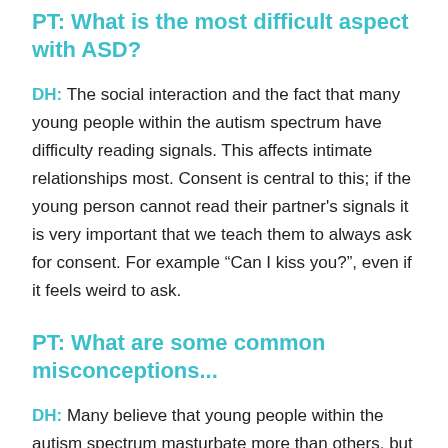PT: What is the most difficult aspect with ASD?
DH: The social interaction and the fact that many young people within the autism spectrum have difficulty reading signals. This affects intimate relationships most. Consent is central to this; if the young person cannot read their partner's signals it is very important that we teach them to always ask for consent. For example “Can I kiss you?”, even if it feels weird to ask.
PT: What are some common misconceptions...
DH: Many believe that young people within the autism spectrum masturbate more than others, but that is simply because they are easier to detect than others. Therefore, we must teach them what is private, what is not private. When we talk about where to masturbate I sometimes use